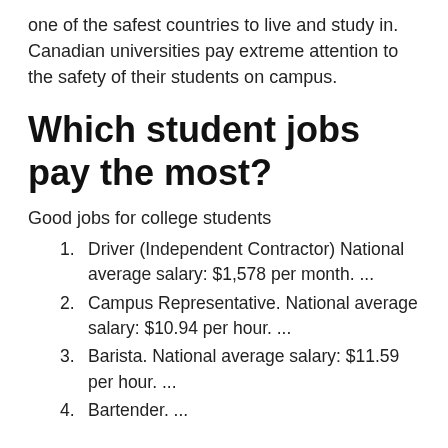one of the safest countries to live and study in. Canadian universities pay extreme attention to the safety of their students on campus.
Which student jobs pay the most?
Good jobs for college students
Driver (Independent Contractor) National average salary: $1,578 per month. ...
Campus Representative. National average salary: $10.94 per hour. ...
Barista. National average salary: $11.59 per hour. ...
Bartender. ...